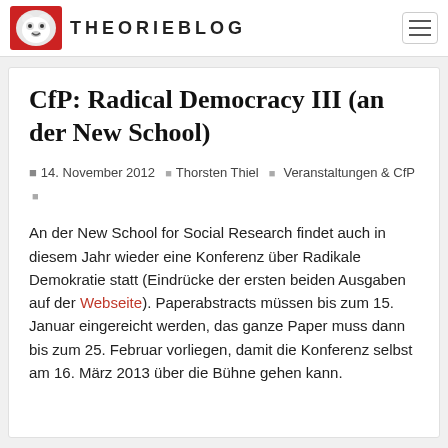THEORIEBLOG
CfP: Radical Democracy III (an der New School)
14. November 2012 | Thorsten Thiel | Veranstaltungen & CfP
An der New School for Social Research findet auch in diesem Jahr wieder eine Konferenz über Radikale Demokratie statt (Eindrücke der ersten beiden Ausgaben auf der Webseite). Paperabstracts müssen bis zum 15. Januar eingereicht werden, das ganze Paper muss dann bis zum 25. Februar vorliegen, damit die Konferenz selbst am 16. März 2013 über die Bühne gehen kann.